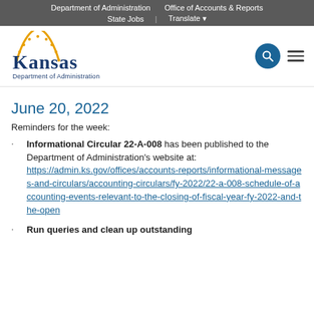Department of Administration   Office of Accounts & Reports   State Jobs   Translate
[Figure (logo): Kansas Department of Administration logo with sunflower emblem]
June 20, 2022
Reminders for the week:
Informational Circular 22-A-008 has been published to the Department of Administration's website at: https://admin.ks.gov/offices/accounts-reports/informational-messages-and-circulars/accounting-circulars/fy-2022/22-a-008-schedule-of-accounting-events-relevant-to-the-closing-of-fiscal-year-fy-2022-and-the-open
Run queries and clean up outstanding